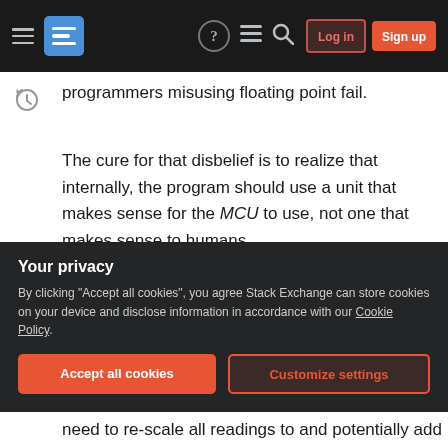Stack Exchange navigation bar with hamburger menu, logo, help, chat, search icons, Log in and Sign up buttons
programmers misusing floating point fail.
The cure for that disbelief is to realize that internally, the program should use a unit that makes sense for the MCU to use, not one that makes sense to humans.
For example if you measure current in mA with an on-chip 10 bit ADC, the convenient unit to use in software is "fixed point raw ADC values from 0 to 1024". In C programming that means a uint16_t or optionally a uint_fast16_t. Not an int and
Your privacy
By clicking "Accept all cookies", you agree Stack Exchange can store cookies on your device and disclose information in accordance with our Cookie Policy.
need to re-scale all readings to and potentially add